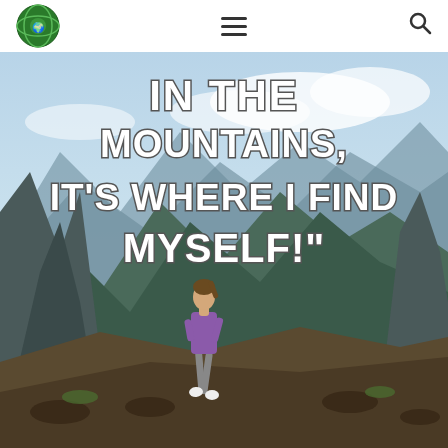Navigation header with logo, hamburger menu, and search icon
[Figure (photo): Woman in purple jacket standing on rocky mountain summit with dramatic mountain peaks and cloudy sky in background. Large white bold text overlaid reads: IN THE MOUNTAINS, IT'S WHERE I FIND MYSELF!"]